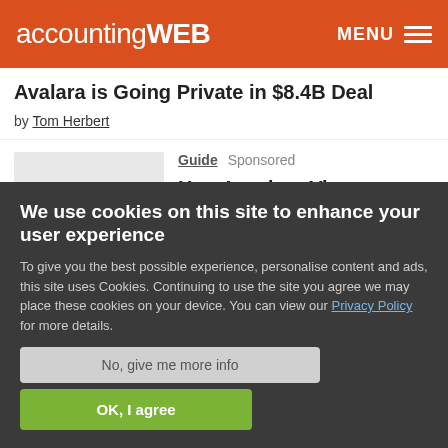accountingWEB  MENU
Avalara is Going Private in $8.4B Deal
by Tom Herbert
Guide  Sponsored
How Lenders View Financing Applications
[Figure (other): Thumbnail image placeholder for How Lenders View Financing Applications article]
We use cookies on this site to enhance your user experience
To give you the best possible experience, personalise content and ads, this site uses Cookies. Continuing to use the site you agree we may place these cookies on your device. You can view our Privacy Policy for more details.
No, give me more info
OK, I agree